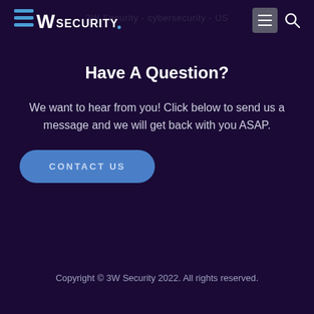[Figure (logo): 3W Security logo with stylized blue 3W icon and SECURITY text in white]
Have A Question?
We want to hear from you! Click below to send us a message and we will get back with you ASAP.
CONTACT US
Copyright © 3W Security 2022. All rights reserved.